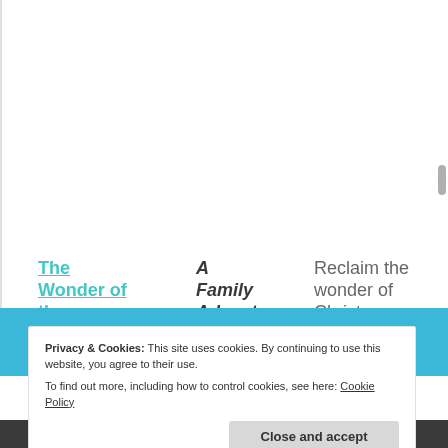The Wonder of the Greatest Gift–An Interactive Family
A Family Advent Activity that can be used
Reclaim the wonder of Christmas and open up this and watch the tree pop-up. Every day c
Privacy & Cookies: This site uses cookies. By continuing to use this website, you agree to their use. To find out more, including how to control cookies, see here: Cookie Policy
Close and accept